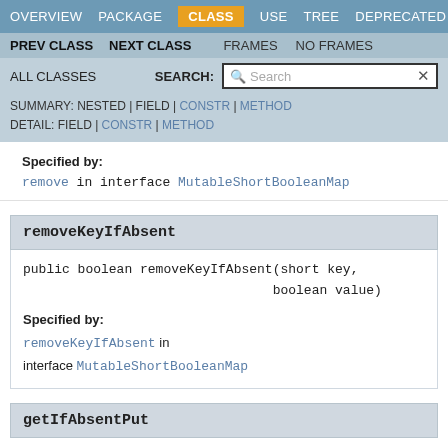OVERVIEW  PACKAGE  CLASS  USE  TREE  DEPRECATED
PREV CLASS  NEXT CLASS  FRAMES  NO FRAMES
ALL CLASSES  SEARCH:
SUMMARY: NESTED | FIELD | CONSTR | METHOD  DETAIL: FIELD | CONSTR | METHOD
Specified by:
remove in interface MutableShortBooleanMap
removeKeyIfAbsent
public boolean removeKeyIfAbsent(short key,
                                boolean value)
Specified by:
removeKeyIfAbsent in interface MutableShortBooleanMap
getIfAbsentPut